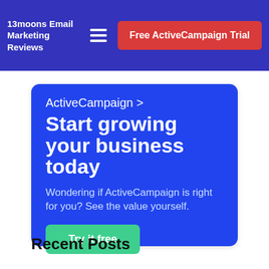13moons Email Marketing Reviews
Free ActiveCampaign Trial
[Figure (screenshot): ActiveCampaign advertisement banner on blue background. Shows 'ActiveCampaign >' logo, headline 'Start growing your business today', subtext 'Wondering if ActiveCampaign is right for you? See the value yourself.', and a green 'Try it free' button.]
Recent Posts